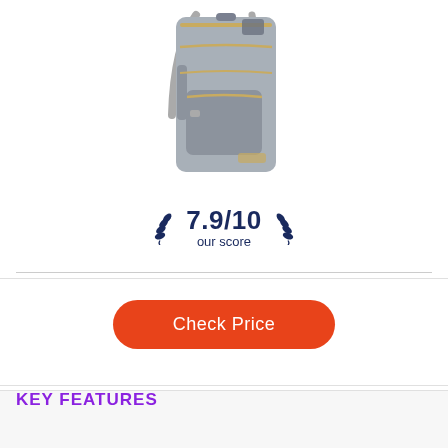[Figure (photo): Gray backpack / diaper bag with gold zippers, multiple pockets, and shoulder straps, shown from front angle on white background]
7.9/10 our score
Check Price
KEY FEATURES